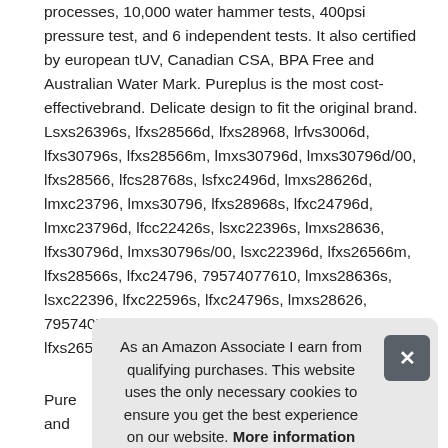processes, 10,000 water hammer tests, 400psi pressure test, and 6 independent tests. It also certified by european tUV, Canadian CSA, BPA Free and Australian Water Mark. Pureplus is the most cost-effectivebrand. Delicate design to fit the original brand. Lsxs26396s, lfxs28566d, lfxs28968, lrfvs3006d, lfxs30796s, lfxs28566m, lmxs30796d, lmxs30796d/00, lfxs28566, lfcs28768s, lsfxc2496d, lmxs28626d, lmxc23796, lmxs30796, lfxs28968s, lfxc24796d, lmxc23796d, lfcc22426s, lsxc22396s, lmxs28636, lfxs30796d, lmxs30796s/00, lsxc22396d, lfxs26566m, lfxs28566s, lfxc24796, 79574077610, lmxs28636s, lsxc22396, lfxc22596s, lfxc24796s, lmxs28626, 79574077610, lfxs28968d, lfxc22526s, lfxs30796, lfxs26566s.
As an Amazon Associate I earn from qualifying purchases. This website uses the only necessary cookies to ensure you get the best experience on our website. More information
Pure... and...